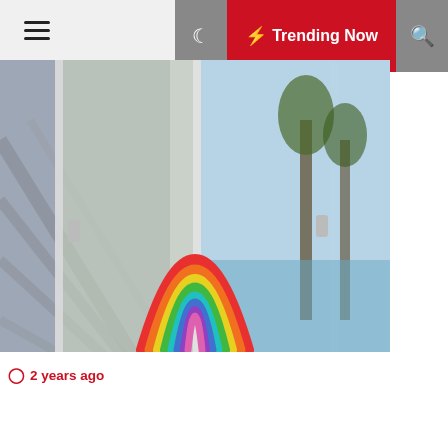≡  🌙  ⚡ Trending Now  🔍
[Figure (photo): Window with a hand-drawn rainbow painting, blurred outdoor trees visible through sliding glass panes]
2 years ago
Science-backed tactics to cultivate hope
[Figure (photo): Close-up of a US $100 bill overlaid with digital binary code matrix effect]